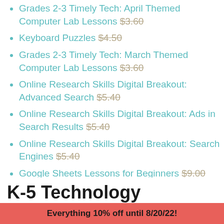Grades 2-3 Timely Tech: April Themed Computer Lab Lessons $3.60
Keyboard Puzzles $4.50
Grades 2-3 Timely Tech: March Themed Computer Lab Lessons $3.60
Online Research Skills Digital Breakout: Advanced Search $5.40
Online Research Skills Digital Breakout: Ads in Search Results $5.40
Online Research Skills Digital Breakout: Search Engines $5.40
Google Sheets Lessons for Beginners $9.00
K-5 Technology Activities Bundle
$11.70 $130.00
Everything 10% off until 8/20/22!